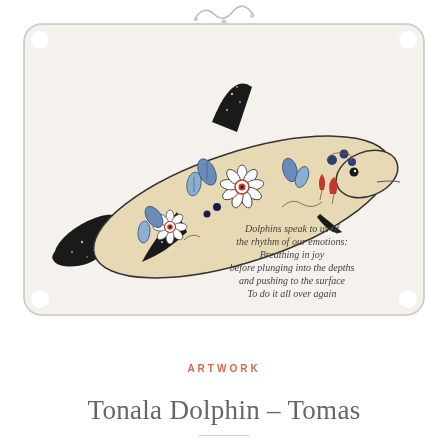[Figure (illustration): Hand-drawn illustration of a decorative Tonala-style dolphin leaping upward. The dolphin body is cream/tan with black glittery fins and tail. The dolphin is decorated with folk-art floral motifs: white daisy flowers with red centers, blue leaves, red tulip-like shapes, and dark berries/dots. Below the dolphin is handwritten-style cursive text reading: 'Dolphins speak to us of the rhythm of our emotions: Breathing in joy before plunging into the depths and pushing to the surface To do it all over again'. The card background is off-white with scalloped/notched rounded-rectangle border.]
ARTWORK
Tonala Dolphin – Tomas